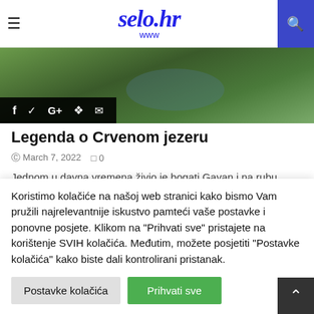selo.hr www
[Figure (photo): Aerial photo of Crveno jezero (Red Lake) area with green vegetation and rocky landscape. Social sharing bar with icons for Facebook, Twitter, Google+, Pinterest, and Email overlaid at bottom left.]
Legenda o Crvenom jezeru
March 7, 2022  0
Jednom u davna vremena živio je bogati Gavan i na rubu Crvenog jezera...
[Figure (photo): Partial thumbnail images of related articles visible at the bottom of the article section.]
Koristimo kolačiće na našoj web stranici kako bismo Vam pružili najrelevantnije iskustvo pamteći vaše postavke i ponovne posjete. Klikom na "Prihvati sve" pristajete na korištenje SVIH kolačića. Međutim, možete posjetiti "Postavke kolačića" kako biste dali kontrolirani pristanak.